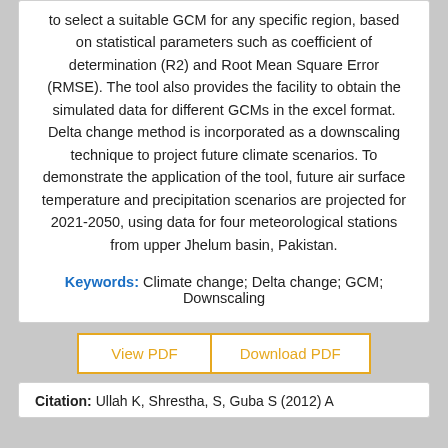to select a suitable GCM for any specific region, based on statistical parameters such as coefficient of determination (R2) and Root Mean Square Error (RMSE). The tool also provides the facility to obtain the simulated data for different GCMs in the excel format. Delta change method is incorporated as a downscaling technique to project future climate scenarios. To demonstrate the application of the tool, future air surface temperature and precipitation scenarios are projected for 2021-2050, using data for four meteorological stations from upper Jhelum basin, Pakistan.
Keywords: Climate change; Delta change; GCM; Downscaling
View PDF | Download PDF
Citation: Ullah K, Shrestha, S, Guba S (2012) A